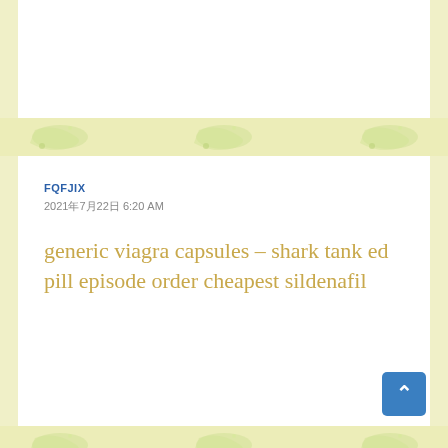FQFJIX
2021年7月22日 6:20 AM
generic viagra capsules – shark tank ed pill episode order cheapest sildenafil
ELEYNF
2021年7月23日 9:25 AM
cialis 2.5 mg canada – online drugstore cialis canada